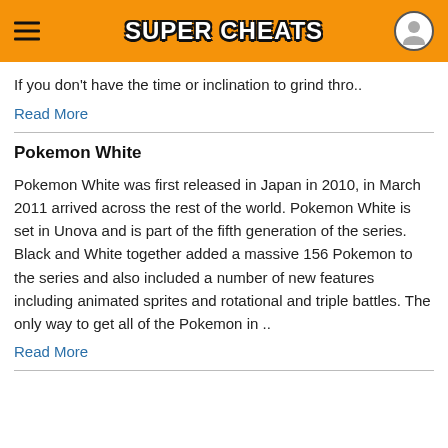Super Cheats
If you don't have the time or inclination to grind thro..
Read More
Pokemon White
Pokemon White was first released in Japan in 2010, in March 2011 arrived across the rest of the world. Pokemon White is set in Unova and is part of the fifth generation of the series. Black and White together added a massive 156 Pokemon to the series and also included a number of new features including animated sprites and rotational and triple battles. The only way to get all of the Pokemon in ..
Read More